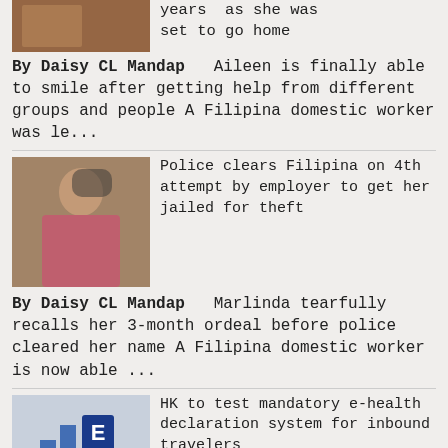[Figure (photo): Partial thumbnail of a person at top of page]
years  as she was set to go home
By Daisy CL Mandap   Aileen is finally able to smile after getting help from different groups and people A Filipina domestic worker was le...
[Figure (photo): Photo of a Filipina woman leaning against a wall]
Police clears Filipina on 4th attempt by employer to get her jailed for theft
By Daisy CL Mandap   Marlinda tearfully recalls her 3-month ordeal before police cleared her name A Filipina domestic worker is now able ...
[Figure (photo): Photo of an airport with bar chart graphic overlay]
HK to test mandatory e-health declaration system for inbound travelers
By The SUN   HK will test the 'no health declaration QR code, no boarding' system from Thursday